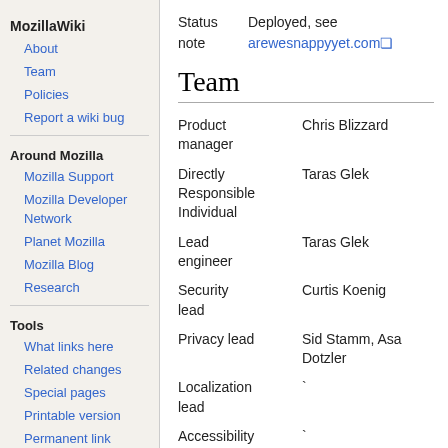MozillaWiki
About
Team
Policies
Report a wiki bug
Around Mozilla
Mozilla Support
Mozilla Developer Network
Planet Mozilla
Mozilla Blog
Research
Tools
What links here
Related changes
Special pages
Printable version
Permanent link
Page information
Import an Etherpad
Browse properties
Status note  Deployed, see arewesnappyyet.com
Team
| Role | Person |
| --- | --- |
| Product manager | Chris Blizzard |
| Directly Responsible Individual | Taras Glek |
| Lead engineer | Taras Glek |
| Security lead | Curtis Koenig |
| Privacy lead | Sid Stamm, Asa Dotzler |
| Localization lead |  |
| Accessibility lead |  |